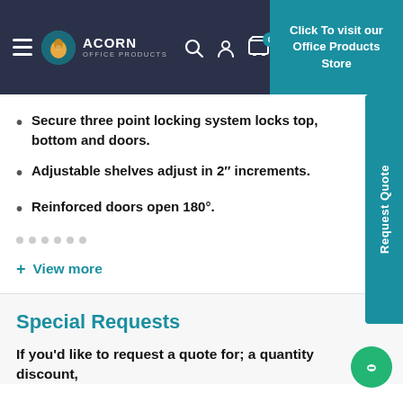ACORN OFFICE PRODUCTS | Click To visit our Office Products Store
Secure three point locking system locks top, bottom and doors.
Adjustable shelves adjust in 2" increments.
Reinforced doors open 180°.
+ View more
Special Requests
If you'd like to request a quote for; a quantity discount,